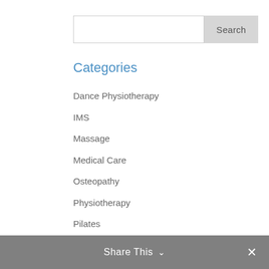[Figure (screenshot): Search input box with Search button]
Categories
Dance Physiotherapy
IMS
Massage
Medical Care
Osteopathy
Physiotherapy
Pilates
Sport rehabilitation
Sports Physiotherapy
Wellbeing
Yoga
Share This  ✕